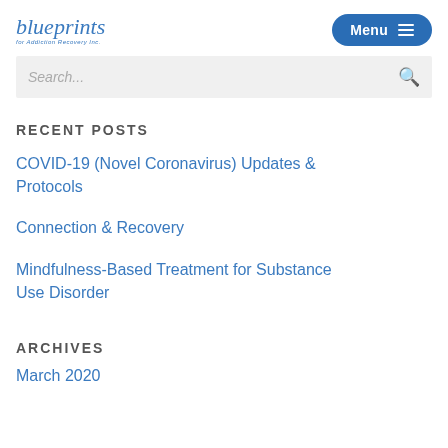blueprints | Menu
Search...
RECENT POSTS
COVID-19 (Novel Coronavirus) Updates & Protocols
Connection & Recovery
Mindfulness-Based Treatment for Substance Use Disorder
ARCHIVES
March 2020